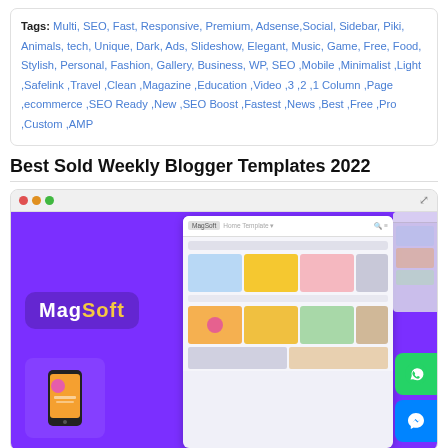Tags: Multi, SEO, Fast, Responsive, Premium, Adsense, Social, Sidebar, Piki, Animals, tech, Unique, Dark, Ads, Slideshow, Elegant, Music, Game, Free, Food, Stylish, Personal, Fashion, Gallery, Business, WP, SEO ,Mobile ,Minimalist ,Light ,Safelink ,Travel ,Clean ,Magazine ,Education ,Video ,3 ,2 ,1 Column ,Page ,ecommerce ,SEO Ready ,New ,SEO Boost ,Fastest ,News ,Best ,Free ,Pro ,Custom ,AMP
Best Sold Weekly Blogger Templates 2022
[Figure (screenshot): Browser window showing MagSoft blogger template with purple background, MagSoft logo, and a preview of the blog layout with image cards, WhatsApp and Messenger chat buttons]